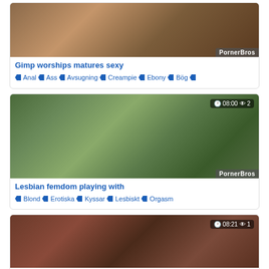[Figure (photo): Video thumbnail for 'Gimp worships matures sexy' with PornerBros watermark]
Gimp worships matures sexy
Anal  Ass  Avsugning  Creampie  Ebony  Bög
[Figure (photo): Video thumbnail for 'Lesbian femdom playing with' with time 08:00, views 2, PornerBros watermark]
Lesbian femdom playing with
Blond  Erotiska  Kyssar  Lesbiskt  Orgasm
[Figure (photo): Video thumbnail with time 08:21, views 1]